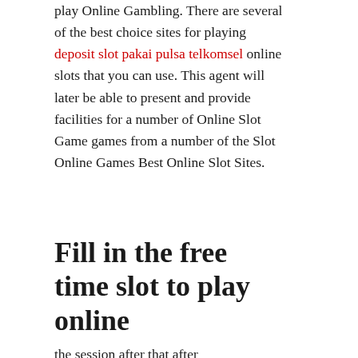play Online Gambling. There are several of the best choice sites for playing deposit slot pakai pulsa telkomsel online slots that you can use. This agent will later be able to present and provide facilities for a number of Online Slot Game games from a number of the Slot Online Games Best Online Slot Sites.
Fill in the free time slot to play online
the session after that after